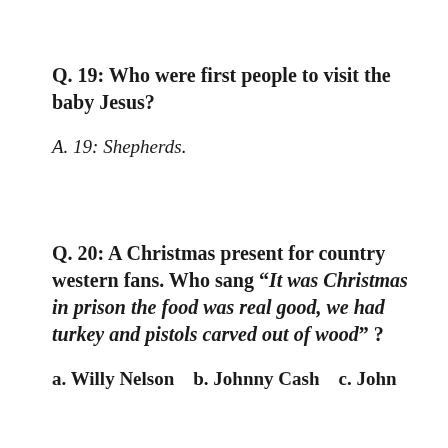Q. 19:  Who were first people to visit the baby Jesus?
A. 19:  Shepherds.
Q. 20:  A Christmas present for country western fans. Who sang “It was Christmas in prison the food was real good, we had turkey and pistols carved out of wood” ?
a. Willy Nelson   b. Johnny Cash   c. John